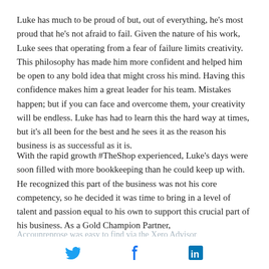Luke has much to be proud of but, out of everything, he's most proud that he's not afraid to fail. Given the nature of his work, Luke sees that operating from a fear of failure limits creativity. This philosophy has made him more confident and helped him be open to any bold idea that might cross his mind. Having this confidence makes him a great leader for his team. Mistakes happen; but if you can face and overcome them, your creativity will be endless. Luke has had to learn this the hard way at times, but it's all been for the best and he sees it as the reason his business is as successful as it is.
With the rapid growth #TheShop experienced, Luke's days were soon filled with more bookkeeping than he could keep up with. He recognized this part of the business was not his core competency, so he decided it was time to bring in a level of talent and passion equal to his own to support this crucial part of his business. As a Gold Champion Partner, Accountreprose was easy to find via the Xero Advisor Directory. Once Luke connected with Tina, he knew instantly
[Figure (other): Social media sharing bar with Twitter (bird icon), Facebook (f icon), and LinkedIn (in icon) icons]